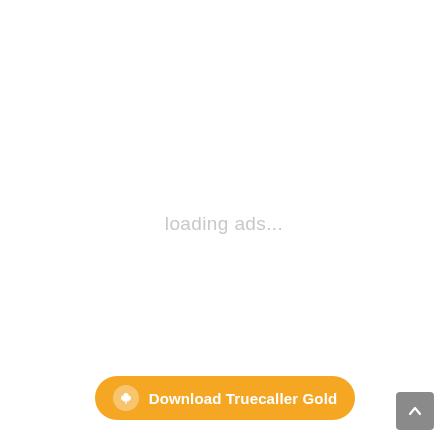loading ads...
[Figure (other): Orange rounded button with cloud download icon and text 'Download Truecaller Gold']
[Figure (other): Grey square scroll-to-top button with upward chevron arrow]